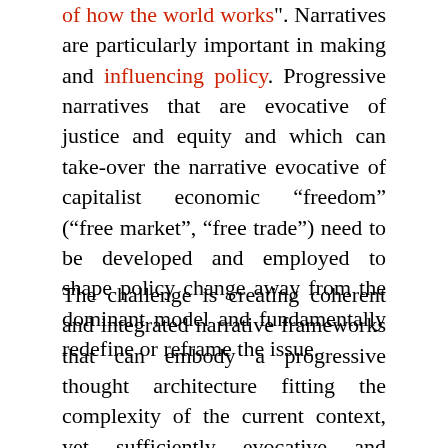of how the world works". Narratives are particularly important in making and influencing policy. Progressive narratives that are evocative of justice and equity and which can take-over the narrative evocative of capitalist economic “freedom” (“free market”, “free trade”) need to be developed and employed to shape policy change away from the dominant model and fundamentally redefine or reframe the issue.
The challenge is creating coherent and integrated narrative frameworks that can embody a progressive thought architecture fitting the complexity of the current context, yet sufficiently evocative and attractive to trigger and push forward the systemic and integrated policy changes needed to address complex real world global problems with community-oriented, justice-based and equitable